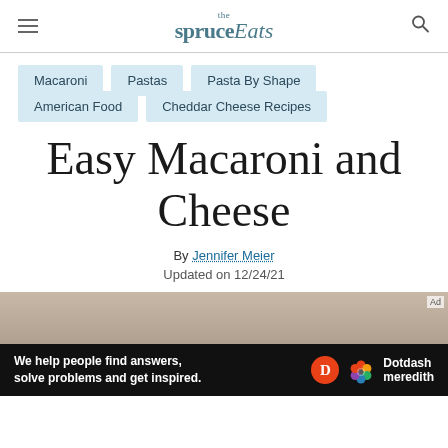the spruce Eats
Macaroni
Pastas
Pasta By Shape
American Food
Cheddar Cheese Recipes
Easy Macaroni and Cheese
By Jennifer Meier
Updated on 12/24/21
[Figure (photo): Partial view of a bowl of macaroni and cheese]
We help people find answers, solve problems and get inspired. Dotdash meredith